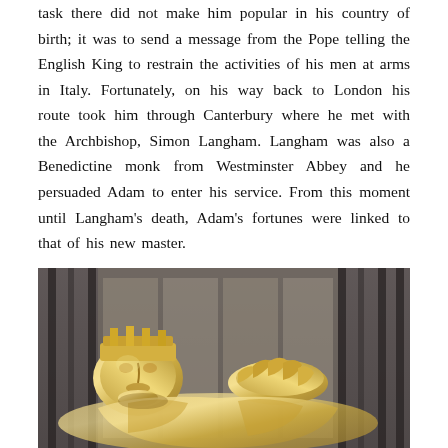task there did not make him popular in his country of birth; it was to send a message from the Pope telling the English King to restrain the activities of his men at arms in Italy. Fortunately, on his way back to London his route took him through Canterbury where he met with the Archbishop, Simon Langham. Langham was also a Benedictine monk from Westminster Abbey and he persuaded Adam to enter his service. From this moment until Langham's death, Adam's fortunes were linked to that of his new master.
[Figure (photo): A close-up photograph of a gilded or brass effigy of a recumbent figure (likely a medieval tomb effigy), showing the face and hands clasped in prayer, with metal railings visible in the background.]